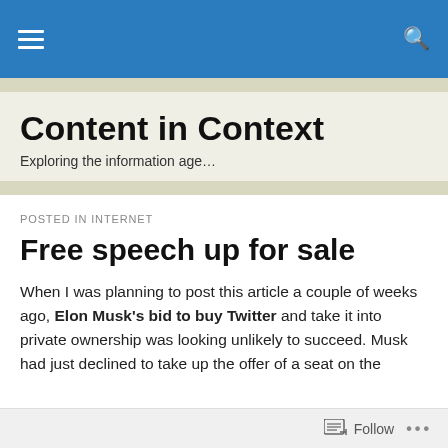Content in Context — navigation bar
Content in Context
Exploring the information age…
POSTED IN INTERNET
Free speech up for sale
When I was planning to post this article a couple of weeks ago, Elon Musk's bid to buy Twitter and take it into private ownership was looking unlikely to succeed. Musk had just declined to take up the offer of a seat on the
Follow …